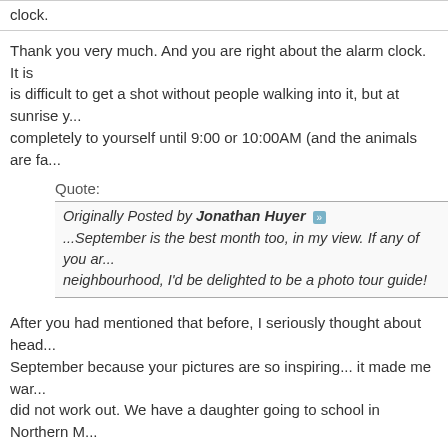clock.
Thank you very much. And you are right about the alarm clock. It is difficult to get a shot without people walking into it, but at sunrise you have it completely to yourself until 9:00 or 10:00AM (and the animals are fa...
Quote:
Originally Posted by Jonathan Huyer
...September is the best month too, in my view. If any of you are in the neighbourhood, I'd be delighted to be a photo tour guide!
After you had mentioned that before, I seriously thought about heading there in September because your pictures are so inspiring... it made me want to go. It did not work out. We have a daughter going to school in Northern M... for the next couple years will probably be there (which is not so bad) for the next couple of years:confused:.
conropl
Quote:
Originally Posted by Steve U